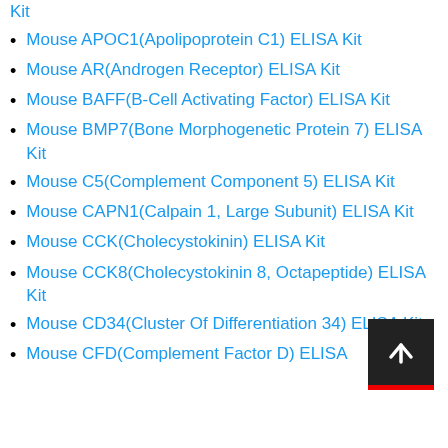Kit
Mouse APOC1(Apolipoprotein C1) ELISA Kit
Mouse AR(Androgen Receptor) ELISA Kit
Mouse BAFF(B-Cell Activating Factor) ELISA Kit
Mouse BMP7(Bone Morphogenetic Protein 7) ELISA Kit
Mouse C5(Complement Component 5) ELISA Kit
Mouse CAPN1(Calpain 1, Large Subunit) ELISA Kit
Mouse CCK(Cholecystokinin) ELISA Kit
Mouse CCK8(Cholecystokinin 8, Octapeptide) ELISA Kit
Mouse CD34(Cluster Of Differentiation 34) ELISA Kit
Mouse CFD(Complement Factor D) ELISA